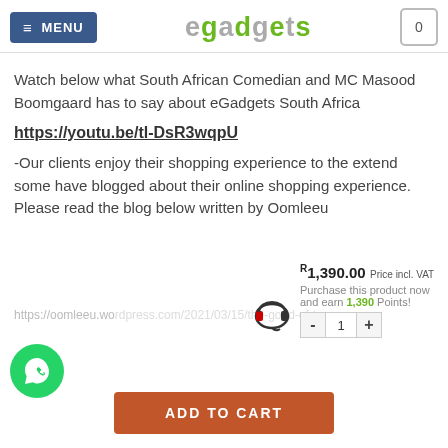MENU | egadgets | 0
Watch below what South African Comedian and MC Masood Boomgaard has to say about eGadgets South Africa
https://youtu.be/tl-DsR3wqpU
-Our clients enjoy their shopping experience to the extend some have blogged about their online shopping experience. Please read the blog below written by Oomleeu
https://oomleeu.wordpress.com/2021/03/15/the-good-of-to-good...
R1,390.00 Price incl. VAT
Purchase this product now and earn 1,390 Points!
ADD TO CART